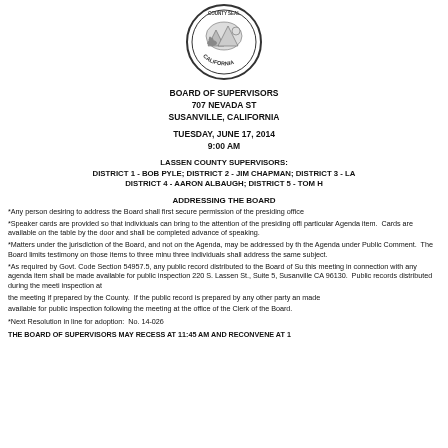[Figure (logo): Circular seal of California county with bear and landscape illustration]
BOARD OF SUPERVISORS
707 NEVADA ST
SUSANVILLE, CALIFORNIA
TUESDAY, JUNE 17, 2014
9:00 AM
LASSEN COUNTY SUPERVISORS:
DISTRICT 1 - BOB PYLE; DISTRICT 2 - JIM CHAPMAN; DISTRICT 3 - LA
DISTRICT 4 - AARON ALBAUGH; DISTRICT 5 - TOM H
ADDRESSING THE BOARD
*Any person desiring to address the Board shall first secure permission of the presiding office
*Speaker cards are provided so that individuals can bring to the attention of the presiding offi particular Agenda item.  Cards are available on the table by the door and shall be completed advance of speaking.
*Matters under the jurisdiction of the Board, and not on the Agenda, may be addressed by th the Agenda under Public Comment.  The Board limits testimony on those items to three minu three individuals shall address the same subject.
*As required by Govt. Code Section 54957.5, any public record distributed to the Board of Su this meeting in connection with any agenda item shall be made available for public inspection 220 S. Lassen St., Suite 5, Susanville CA 96130.  Public records distributed during the meeti inspection at
the meeting if prepared by the County.  If the public record is prepared by any other party an made
available for public inspection following the meeting at the office of the Clerk of the Board.
*Next Resolution in line for adoption:  No. 14-026
THE BOARD OF SUPERVISORS MAY RECESS AT 11:45 AM AND RECONVENE AT 1